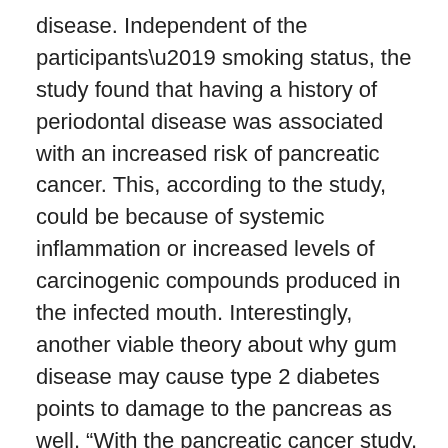disease. Independent of the participants' smoking status, the study found that having a history of periodontal disease was associated with an increased risk of pancreatic cancer. This, according to the study, could be because of systemic inflammation or increased levels of carcinogenic compounds produced in the infected mouth. Interestingly, another viable theory about why gum disease may cause type 2 diabetes points to damage to the pancreas as well. “With the pancreatic cancer study, we thought it was very interesting that you have this localized infection that has an impact on a systemic organ that is very intimately tied to the pathophysiology of diabetes,” says Dr. Desvarieux.
Cancer. Your dentist and hygienist should screen for oral cancer and other cancers of the head and neck, including